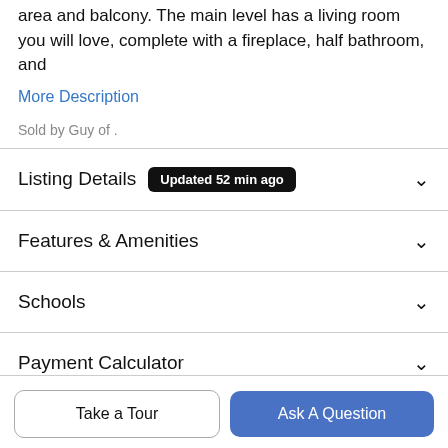area and balcony. The main level has a living room you will love, complete with a fireplace, half bathroom, and
More Description
Sold by Guy of .
Listing Details  Updated 52 min ago
Features & Amenities
Schools
Payment Calculator
Take a Tour
Ask A Question